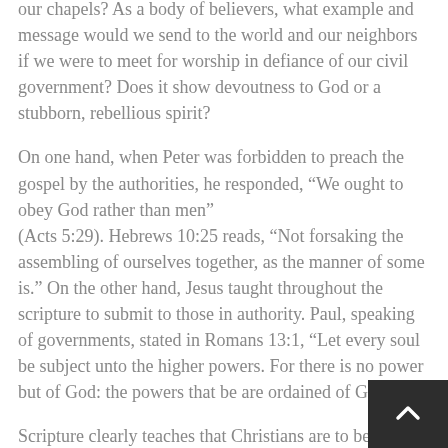our chapels? As a body of believers, what example and message would we send to the world and our neighbors if we were to meet for worship in defiance of our civil government? Does it show devoutness to God or a stubborn, rebellious spirit?
On one hand, when Peter was forbidden to preach the gospel by the authorities, he responded, “We ought to obey God rather than men” (Acts 5:29). Hebrews 10:25 reads, “Not forsaking the assembling of ourselves together, as the manner of some is.” On the other hand, Jesus taught throughout the scripture to submit to those in authority. Paul, speaking of governments, stated in Romans 13:1, “Let every soul be subject unto the higher powers. For there is no power but of God: the powers that be are ordained of God.”
Scripture clearly teaches that Christians are to be good citizens and to follow the ordinances and mandates...